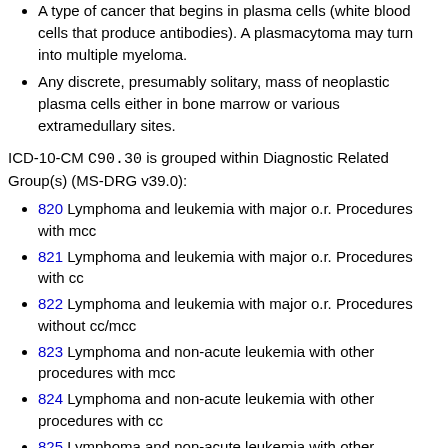A type of cancer that begins in plasma cells (white blood cells that produce antibodies). A plasmacytoma may turn into multiple myeloma.
Any discrete, presumably solitary, mass of neoplastic plasma cells either in bone marrow or various extramedullary sites.
ICD-10-CM C90.30 is grouped within Diagnostic Related Group(s) (MS-DRG v39.0):
820 Lymphoma and leukemia with major o.r. Procedures with mcc
821 Lymphoma and leukemia with major o.r. Procedures with cc
822 Lymphoma and leukemia with major o.r. Procedures without cc/mcc
823 Lymphoma and non-acute leukemia with other procedures with mcc
824 Lymphoma and non-acute leukemia with other procedures with cc
825 Lymphoma and non-acute leukemia with other procedures without cc/mcc
840 Lymphoma and non-acute leukemia with mcc
841 Lymphoma and non-acute leukemia with cc
842 Lymphoma and non-acute leukemia without cc/mcc